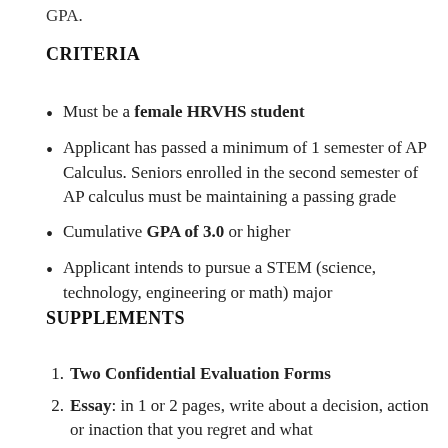GPA.
CRITERIA
Must be a female HRVHS student
Applicant has passed a minimum of 1 semester of AP Calculus. Seniors enrolled in the second semester of AP calculus must be maintaining a passing grade
Cumulative GPA of 3.0 or higher
Applicant intends to pursue a STEM (science, technology, engineering or math) major
SUPPLEMENTS
Two Confidential Evaluation Forms
Essay: in 1 or 2 pages, write about a decision, action or inaction that you regret and what